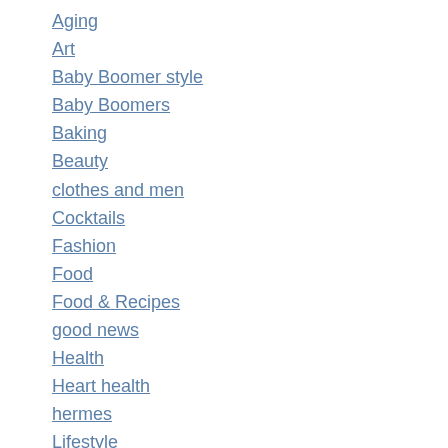Aging
Art
Baby Boomer style
Baby Boomers
Baking
Beauty
clothes and men
Cocktails
Fashion
Food
Food & Recipes
good news
Health
Heart health
hermes
Lifestyle
Men and shopping
Music
Observations